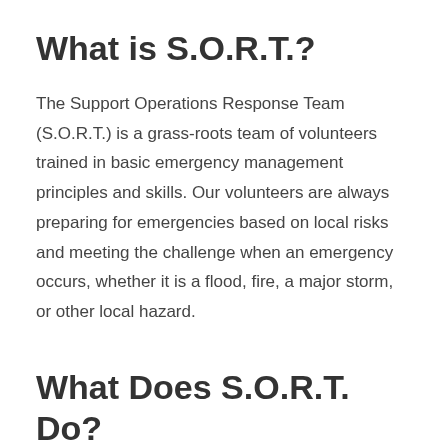What is S.O.R.T.?
The Support Operations Response Team (S.O.R.T.) is a grass-roots team of volunteers trained in basic emergency management principles and skills. Our volunteers are always preparing for emergencies based on local risks and meeting the challenge when an emergency occurs, whether it is a flood, fire, a major storm, or other local hazard.
What Does S.O.R.T. Do?
This dedicated team of volunteers provide support to the Petrolia & North Enniskillen Fire Department by handling: